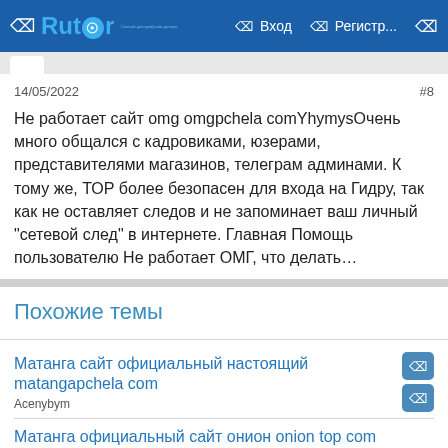Rutor — Вход — Регистр...
14/05/2022
#8
Не работает сайт omg omgpchela comYhymysОчень много общался с кадровиками, юзерами, представителями магазинов, телеграм админами. К тому же, ТОР более безопасен для входа на Гидру, так как не оставляет следов и не запоминает ваш личный "сетевой след" в интернете. Главная Помощь пользователю Не работает ОМГ, что делать…
Похожие темы
Матанга сайт официальный настоящий matangapchela com
Acenybym
Матанга официальный сайт онион onion top com
Xidowi